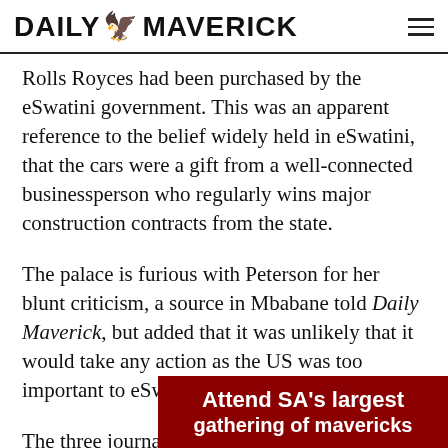DAILY MAVERICK
Rolls Royces had been purchased by the eSwatini government. This was an apparent reference to the belief widely held in eSwatini, that the cars were a gift from a well-connected businessperson who regularly wins major construction contracts from the state.
The palace is furious with Peterson for her blunt criticism, a source in Mbabane told Daily Maverick, but added that it was unlikely that it would take any action as the US was too important to eSwatini.
The three journalists who participated in the
[Figure (other): Dark red advertisement banner with white bold text reading 'Attend SA's largest gathering of mavericks']